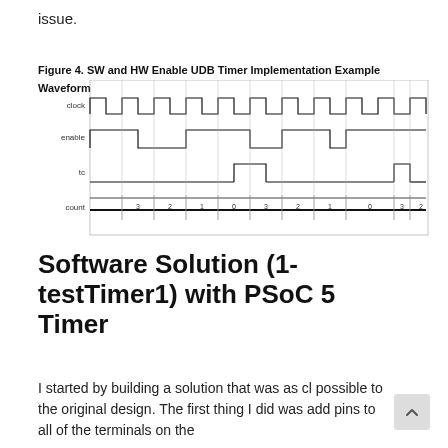issue.
Figure 4. SW and HW Enable UDB Timer Implementation Example Waveform
[Figure (engineering-diagram): Digital timing waveform diagram showing four signals: clock (square wave), enable (wide pulses), tc (narrow pulses at count=0), and count (values: 3, 2, 1, 0, 3, 2, 1, 0, 3, 2)]
Software Solution (1-testTimer1) with PSoC 5 Timer
I started by building a solution that was as cl possible to the original design. The first thing I did was add pins to all of the terminals on the